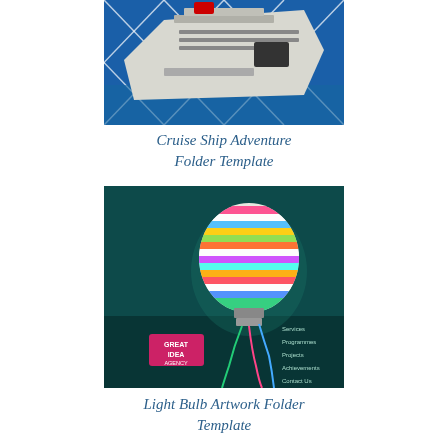[Figure (photo): Cruise ship photo with diamond grid overlay pattern, showing the bow of a large white cruise ship on blue water]
Cruise Ship Adventure Folder Template
[Figure (photo): Light bulb artwork folder template cover showing a colorful striped light bulb on dark teal background with 'GREAT IDEA AGENCY' text and menu items]
Light Bulb Artwork Folder Template